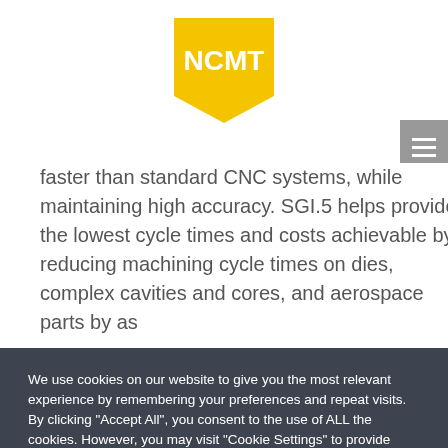[Figure (logo): NCMT logo — yellow angular shape with white NCMT text]
faster than standard CNC systems, while maintaining high accuracy. SGI.5 helps provide the lowest cycle times and costs achievable by reducing machining cycle times on dies, complex cavities and cores, and aerospace parts by as
We use cookies on our website to give you the most relevant experience by remembering your preferences and repeat visits. By clicking "Accept All", you consent to the use of ALL the cookies. However, you may visit "Cookie Settings" to provide controlled consent.